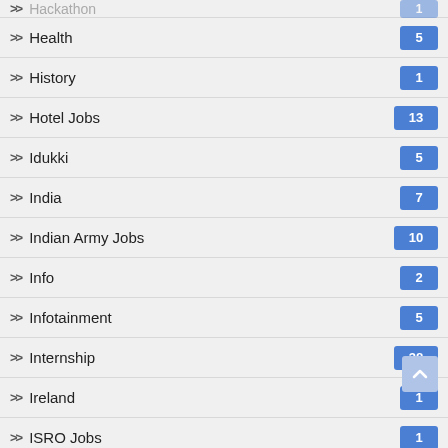Hackathon
Health 5
History 1
Hotel Jobs 13
Idukki 5
India 7
Indian Army Jobs 10
Info 2
Infotainment 5
Internship 38
Ireland 1
ISRO Jobs 1
IT Jobs 67
Italy 1